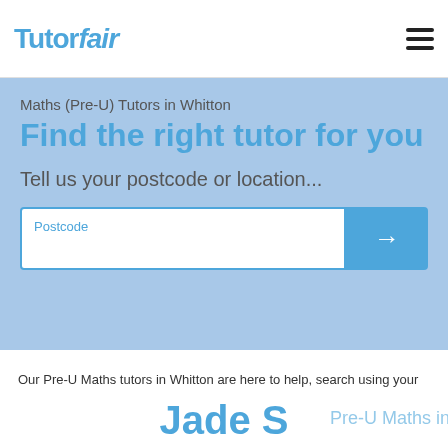Tutorfair
Maths (Pre-U) Tutors in Whitton
Find the right tutor for you
Tell us your postcode or location...
Postcode
Our Pre-U Maths tutors in Whitton are here to help, search using your postcode to find the best Pre-U Maths tutor in Whitton.
This website uses cookies to ensure you get the best experience on our website. Learn more
Got it!
Jade S